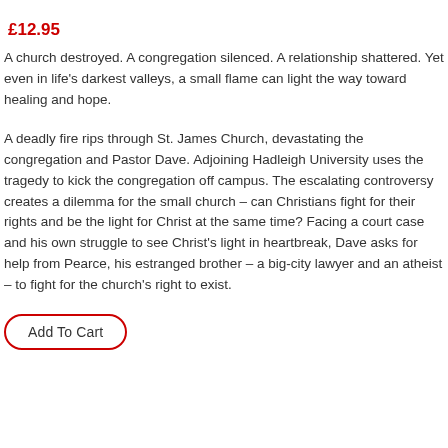£12.95
A church destroyed. A congregation silenced. A relationship shattered. Yet even in life's darkest valleys, a small flame can light the way toward healing and hope.
A deadly fire rips through St. James Church, devastating the congregation and Pastor Dave. Adjoining Hadleigh University uses the tragedy to kick the congregation off campus. The escalating controversy creates a dilemma for the small church – can Christians fight for their rights and be the light for Christ at the same time? Facing a court case and his own struggle to see Christ's light in heartbreak, Dave asks for help from Pearce, his estranged brother – a big-city lawyer and an atheist – to fight for the church's right to exist.
Add To Cart